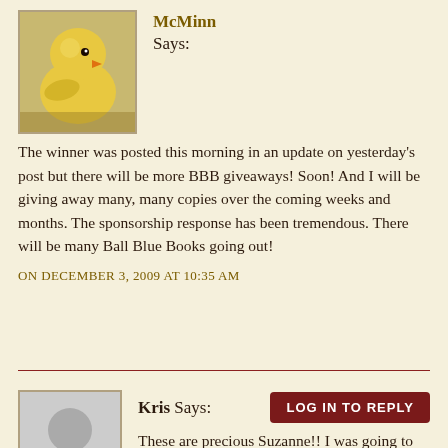[Figure (photo): Close-up photo of a yellow chick (baby bird), used as a commenter avatar for McMinn]
McMinn Says:
The winner was posted this morning in an update on yesterday's post but there will be more BBB giveaways! Soon! And I will be giving away many, many copies over the coming weeks and months. The sponsorship response has been tremendous. There will be many Ball Blue Books going out!
ON DECEMBER 3, 2009 AT 10:35 AM
[Figure (illustration): Gray placeholder avatar icon showing a generic person silhouette, used for commenter Kris]
Kris Says:
LOG IN TO REPLY
These are precious Suzanne!! I was going to try cakepops this year with the kids for holiday treats but these look much easier and oh so cute.